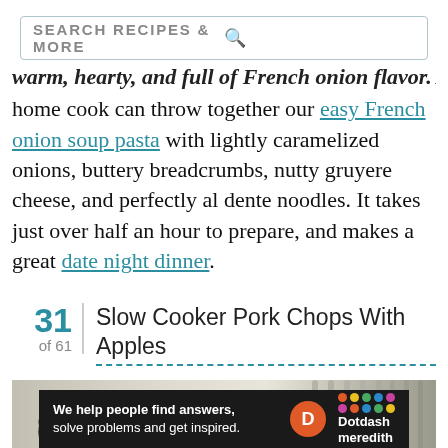SEARCH RECIPES & MORE
warm, hearty, and full of French onion flavor. Any home cook can throw together our easy French onion soup pasta with lightly caramelized onions, buttery breadcrumbs, nutty gruyere cheese, and perfectly al dente noodles. It takes just over half an hour to prepare, and makes a great date night dinner.
31 of 61  Slow Cooker Pork Chops With Apples
[Figure (photo): Food photo showing a bowl with food and forks on the right side, blurred background]
[Figure (logo): Dotdash Meredith advertisement banner with text: We help people find answers, solve problems and get inspired.]